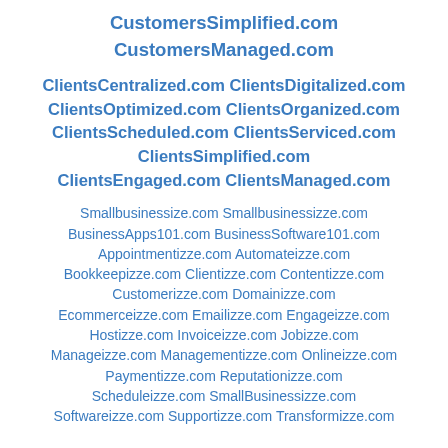CustomersSimplified.com CustomersManaged.com
ClientsCentralized.com ClientsDigitalized.com ClientsOptimized.com ClientsOrganized.com ClientsScheduled.com ClientsServiced.com ClientsSimplified.com ClientsEngaged.com ClientsManaged.com
Smallbusinessize.com Smallbusinessizze.com BusinessApps101.com BusinessSoftware101.com Appointmentizze.com Automateizze.com Bookkeepizze.com Clientizze.com Contentizze.com Customerizze.com Domainizze.com Ecommerceizze.com Emailizze.com Engageizze.com Hostizze.com Invoiceizze.com Jobizze.com Manageizze.com Managementizze.com Onlineizze.com Paymentizze.com Reputationizze.com Scheduleizze.com SmallBusinessizze.com Softwareizze.com Supportizze.com Transformizze.com